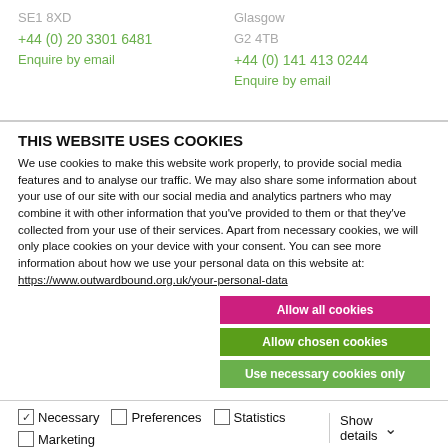SE1 8XD
+44 (0) 20 3301 6481
Enquire by email
Glasgow
G2 4TB
+44 (0) 141 413 0244
Enquire by email
THIS WEBSITE USES COOKIES
We use cookies to make this website work properly, to provide social media features and to analyse our traffic. We may also share some information about your use of our site with our social media and analytics partners who may combine it with other information that you've provided to them or that they've collected from your use of their services. Apart from necessary cookies, we will only place cookies on your device with your consent. You can see more information about how we use your personal data on this website at: https://www.outwardbound.org.uk/your-personal-data
Allow all cookies
Allow chosen cookies
Use necessary cookies only
Necessary  Preferences  Statistics  Marketing  Show details